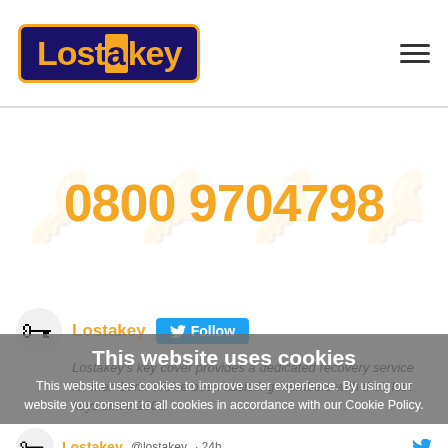[Figure (logo): Lostakey logo: orange text on dark navy/purple rounded rectangle with orange border]
0800 9704798
[Figure (infographic): Twitter/X embed showing Lostakey account with Follow button and tweet text about key cover recovery service since 2009]
Lostakey's key cover provides a dedicated recovery service for members. We've been assisting members with their lost keys since 2009.
This website uses cookies
This website uses cookies to improve user experience. By using our website you consent to all cookies in accordance with our Cookie Policy.
Lostakey @lostakey · 24h
Missing wallaby found after three days on the run
https://www.standard.co.uk/news/uk/co-tyrone-